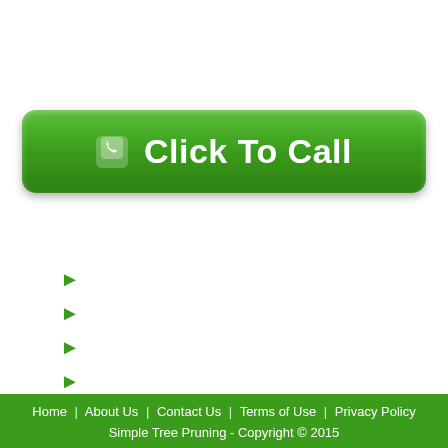[Figure (other): Green 'Click To Call' button with phone icon]
►
►
►
►
Home | About Us | Contact Us | Terms of Use | Privacy Policy
Simple Tree Pruning - Copyright © 2015